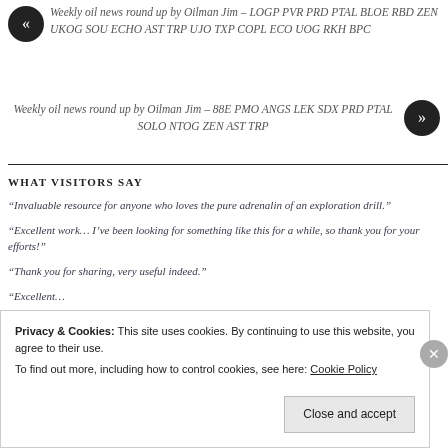Weekly oil news round up by Oilman Jim – LOGP PVR PRD PTAL BLOE RBD ZEN UKOG SOU ECHO AST TRP UJO TXP COPL ECO UOG RKH BPC
Weekly oil news round up by Oilman Jim – 88E PMO ANGS LEK SDX PRD PTAL SOLO NTOG ZEN AST TRP
WHAT VISITORS SAY
“Invaluable resource for anyone who loves the pure adrenalin of an exploration drill.”
“Excellent work… I’ve been looking for something like this for a while, so thank you for your efforts!”
“Thank you for sharing, very useful indeed.”
Privacy & Cookies: This site uses cookies. By continuing to use this website, you agree to their use. To find out more, including how to control cookies, see here: Cookie Policy